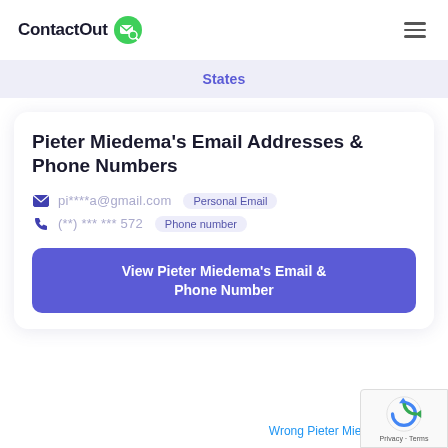ContactOut
States
Pieter Miedema's Email Addresses & Phone Numbers
pi****a@gmail.com  Personal Email
(**) *** *** 572  Phone number
View Pieter Miedema's Email & Phone Number
Wrong Pieter Mied